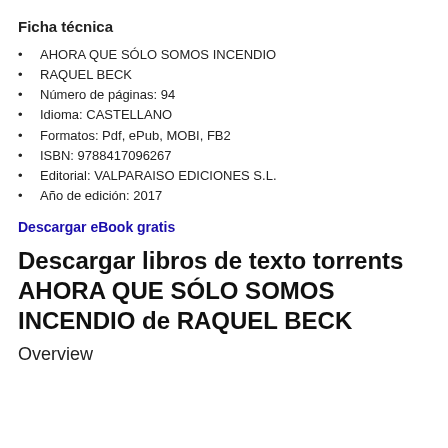Ficha técnica
AHORA QUE SÓLO SOMOS INCENDIO
RAQUEL BECK
Número de páginas: 94
Idioma: CASTELLANO
Formatos: Pdf, ePub, MOBI, FB2
ISBN: 9788417096267
Editorial: VALPARAISO EDICIONES S.L.
Año de edición: 2017
Descargar eBook gratis
Descargar libros de texto torrents AHORA QUE SÓLO SOMOS INCENDIO de RAQUEL BECK
Overview